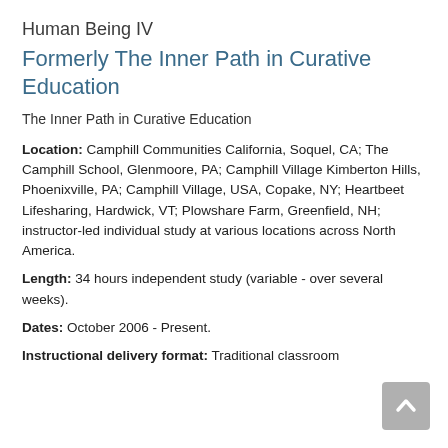Human Being IV
Formerly The Inner Path in Curative Education
The Inner Path in Curative Education
Location:  Camphill Communities California, Soquel, CA; The Camphill School, Glenmoore, PA; Camphill Village Kimberton Hills, Phoenixville, PA; Camphill Village, USA, Copake, NY; Heartbeet Lifesharing, Hardwick, VT; Plowshare Farm, Greenfield, NH; instructor-led individual study at various locations across North America.
Length:  34 hours independent study (variable - over several weeks).
Dates:  October 2006 - Present.
Instructional delivery format:  Traditional classroom